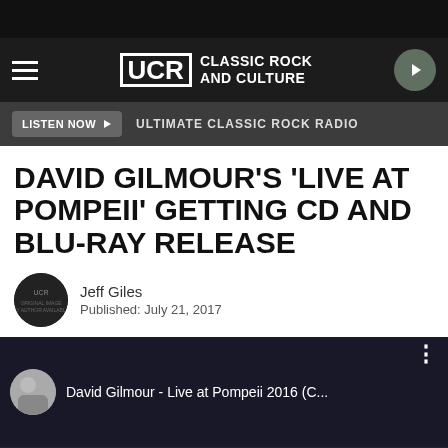UCR CLASSIC ROCK AND CULTURE
LISTEN NOW ▶   ULTIMATE CLASSIC ROCK RADIO
DAVID GILMOUR'S 'LIVE AT POMPEII' GETTING CD AND BLU-RAY RELEASE
Jeff Giles
Published: July 21, 2017
[Figure (screenshot): YouTube video thumbnail showing David Gilmour - Live at Pompeii 2016 (C... with performer avatar and three-dot menu]